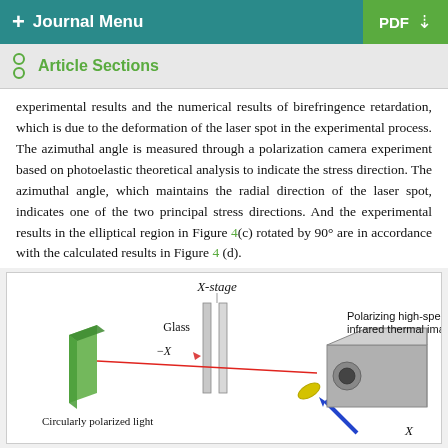+ Journal Menu | PDF ↓
Article Sections
experimental results and the numerical results of birefringence retardation, which is due to the deformation of the laser spot in the experimental process. The azimuthal angle is measured through a polarization camera experiment based on photoelastic theoretical analysis to indicate the stress direction. The azimuthal angle, which maintains the radial direction of the laser spot, indicates one of the two principal stress directions. And the experimental results in the elliptical region in Figure 4(c) rotated by 90° are in accordance with the calculated results in Figure 4 (d).
[Figure (engineering-diagram): Experimental setup diagram showing X-stage, Glass plate, circularly polarized light source (green slab), -X direction arrow, and a polarizing high-speed camera/infrared thermal imaging device (gray box). A red laser beam is shown passing through optical elements. Labels: X-stage, Glass, -X, Polarizing high-speed camera/infrared thermal imaging device, Circularly polarized light, X.]